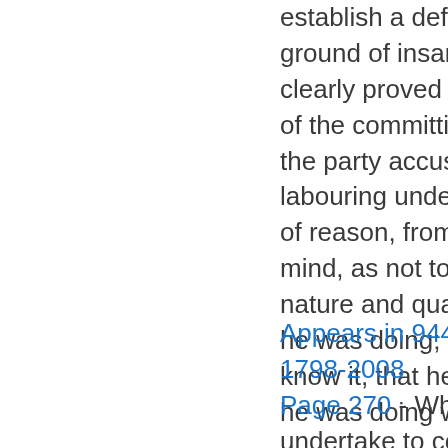establish a defence on the ground of insanity, it must be clearly proved that, at the time of the committing of the act, the party accused was labouring under such a defect of reason, from disease of the mind, as not to know the nature and quality of the act he was doing; or, if he did know it, that he did not know he was doing what was wrong.
Appears in 944 books from 1798-2008
Page 270 - When carriers undertake to convey persons by the powerful but dangerous agency of steam, public